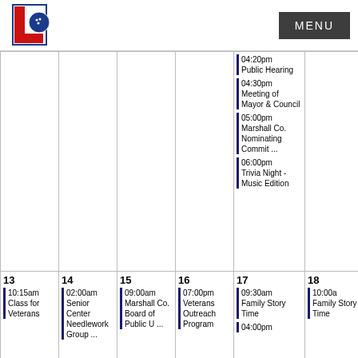[Figure (logo): City of Lewisburg logo with red L and bowling ball emblem]
| 13 | 14 | 15 | 16 | 17 | 18 |
| --- | --- | --- | --- | --- | --- |
| 10:15am Class for Veterans | 02:00am Senior Center Needlework Group ... | 09:00am Marshall Co. Board of Public U ... | 07:00pm Veterans Outreach Program | 04:20pm Public Hearing | 04:30pm Meeting of Mayor & Council | 05:00pm Marshall Co. Nominating Commit ... | 06:00pm Trivia Night - Music Edition | 09:30am Family Story Time | 04:00pm | 10:00am Family Story Time |